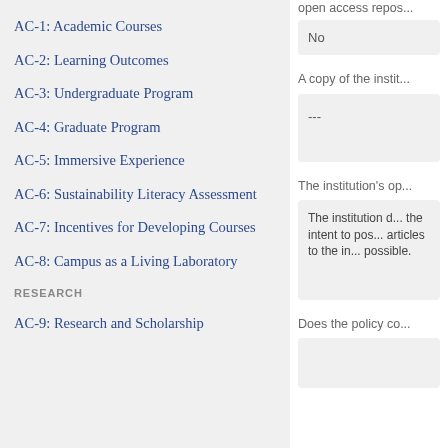AC-1: Academic Courses
AC-2: Learning Outcomes
AC-3: Undergraduate Program
AC-4: Graduate Program
AC-5: Immersive Experience
AC-6: Sustainability Literacy Assessment
AC-7: Incentives for Developing Courses
AC-8: Campus as a Living Laboratory
RESEARCH
AC-9: Research and Scholarship
open access repos...
No
A copy of the instit...
---
The institution's op...
The institution d... the intent to pos... articles to the in... possible.
Does the policy co...